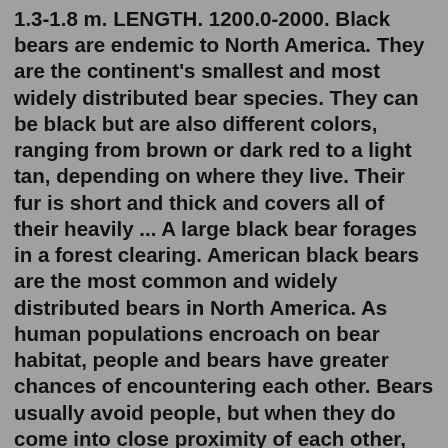1.3-1.8 m. LENGTH. 1200.0-2000. Black bears are endemic to North America. They are the continent's smallest and most widely distributed bear species. They can be black but are also different colors, ranging from brown or dark red to a light tan, depending on where they live. Their fur is short and thick and covers all of their heavily ... A large black bear forages in a forest clearing. American black bears are the most common and widely distributed bears in North America. As human populations encroach on bear habitat, people and bears have greater chances of encountering each other. Bears usually avoid people, but when they do come into close proximity of each other, the bear ... The American black bear (Ursus americanus) is native to Adult black bears continue to climb throughout their lives. They latch on with their front paws and use their back legs to walk up a tree.Black bear facts. 1. American black bears are found in Canada , Mexico and North America. 2. They mostly eat grasses, herbs and fruit, but will sometimes eat other things.